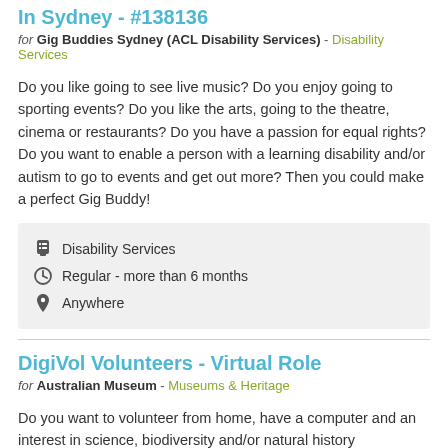Gig Buddy Volunteer - Virtual: Various Locations In Sydney - #138136
for Gig Buddies Sydney (ACL Disability Services) - Disability Services
Do you like going to see live music? Do you enjoy going to sporting events? Do you like the arts, going to the theatre, cinema or restaurants? Do you have a passion for equal rights? Do you want to enable a person with a learning disability and/or autism to go to events and get out more? Then you could make a perfect Gig Buddy!
Disability Services
Regular - more than 6 months
Anywhere
DigiVol Volunteers - Virtual Role
for Australian Museum - Museums & Heritage
Do you want to volunteer from home, have a computer and an interest in science, biodiversity and/or natural history collections? Join DigiVol and volunteer online with flexible hours.